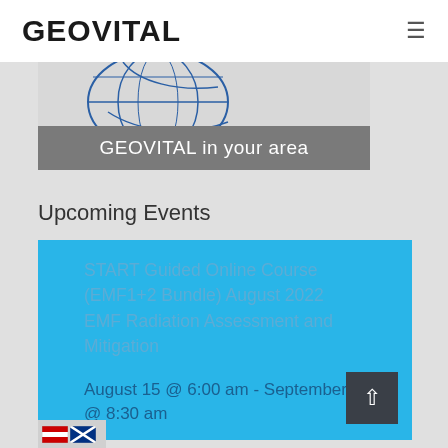GEOVITAL
[Figure (illustration): GEOVITAL globe/world map logo illustration with blue lines on light background]
GEOVITAL in your area
Upcoming Events
START Guided Online Course (EMF1+2 Bundle) August 2022 EMF Radiation Assessment and Mitigation
August 15 @ 6:00 am - September 19 @ 8:30 am